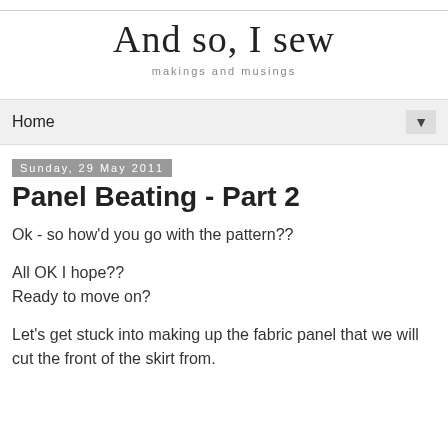And so, I sew
makings and musings
Home
Sunday, 29 May 2011
Panel Beating - Part 2
Ok - so how'd you go with the pattern??
All OK I hope??
Ready to move on?
Let's get stuck into making up the fabric panel that we will cut the front of the skirt from.